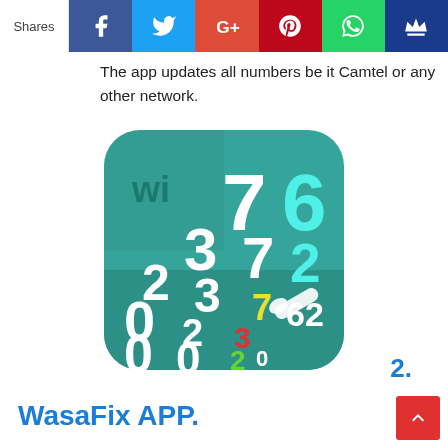Shares | Facebook | Twitter | Google+ | Pinterest | WhatsApp | Crown
The app updates all numbers be it Camtel or any other network.
[Figure (illustration): App icon for a number-updating application showing scattered digits 0, 2, 3, 6, 7 in white and cyan on a teal/green rounded rectangle background, with a wrench icon and small 'wi' logo in the corner.]
2.
WasaFix APP.